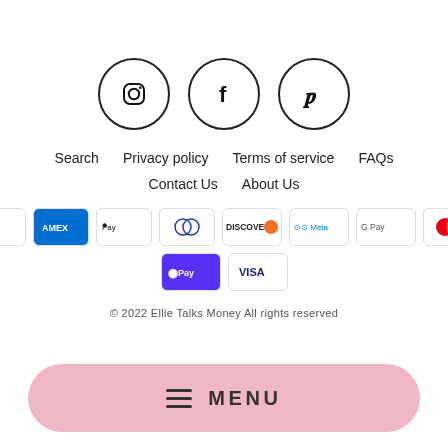[Figure (illustration): Three social media icons in circles: Instagram, Facebook, Pinterest]
Search  Privacy policy  Terms of service  FAQs
Contact Us  About Us
[Figure (illustration): Payment method icons: Amazon, Amex, Apple Pay, Diners Club, Discover, Meta, Google Pay, Mastercard, OPay, Visa]
© 2022 Ellie Talks Money All rights reserved
≡  MENU